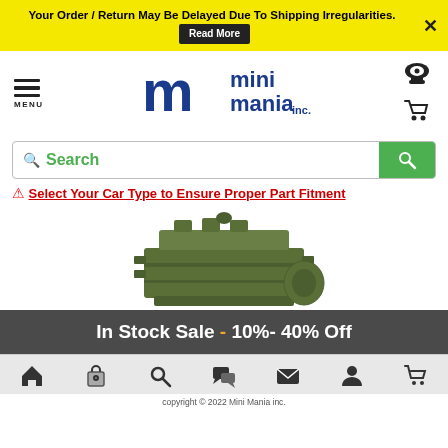Your Order / Return May Be Delayed Due To Shipping Irregularities. Read More
[Figure (logo): Mini Mania Inc. logo with stylized blue M and text 'mini mania inc.']
Search
⚠ Select Your Car Type to Ensure Proper Part Fitment
[Figure (photo): Green vintage Mini engine block photograph]
In Stock Sale - 10%- 40% Off
copyright © 2022 Mini Mania inc.